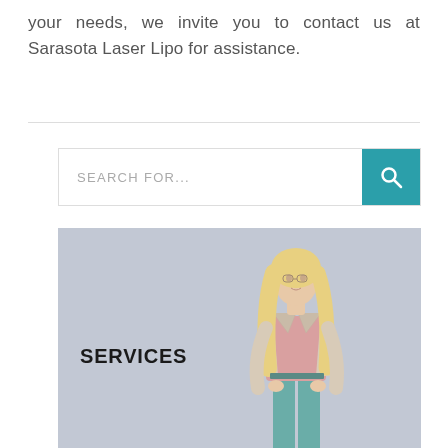your needs, we invite you to contact us at Sarasota Laser Lipo for assistance.
[Figure (screenshot): Search bar with teal search button containing a magnifying glass icon]
[Figure (photo): Middle-aged blonde woman in pink blouse and teal pants with beige blazer standing confidently, with SERVICES text overlay on a grey-blue background]